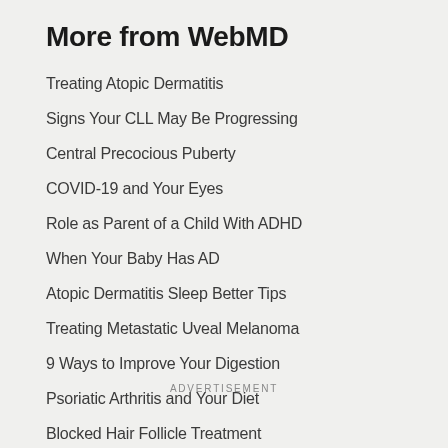More from WebMD
Treating Atopic Dermatitis
Signs Your CLL May Be Progressing
Central Precocious Puberty
COVID-19 and Your Eyes
Role as Parent of a Child With ADHD
When Your Baby Has AD
Atopic Dermatitis Sleep Better Tips
Treating Metastatic Uveal Melanoma
9 Ways to Improve Your Digestion
Psoriatic Arthritis and Your Diet
Blocked Hair Follicle Treatment
ADVERTISEMENT